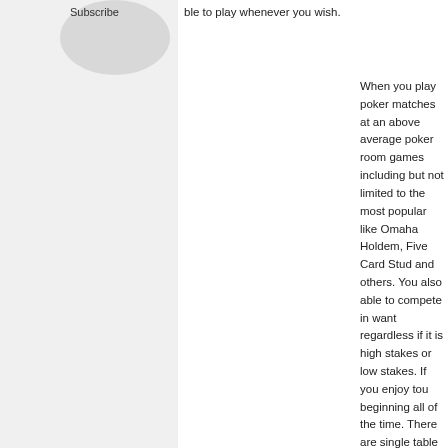Subscribe
ble to play whenever you wish.
When you play poker matches at an above average poker room games including but not limited to the most popular like Omaha Holdem, Five Card Stud and others. You also able to compete in want regardless if it is high stakes or low stakes. If you enjoy tou beginning all of the time. There are single table tournaments and with speed and rebuy tournaments.
If you are a novice and wish to be taught to play poker games yo charge classes and be schooled by the masters. Then you can p matches and practice your skills, until you are all set to chance s There is not under any condition any pressure to do anything an yours. So while your friends are trying to locate sufficient gamble already be winning cash.
Previous topic: Big Risk Poker on the Net   Next topic: on Online P
Leave a Reply
You must be logged in to post a comment.